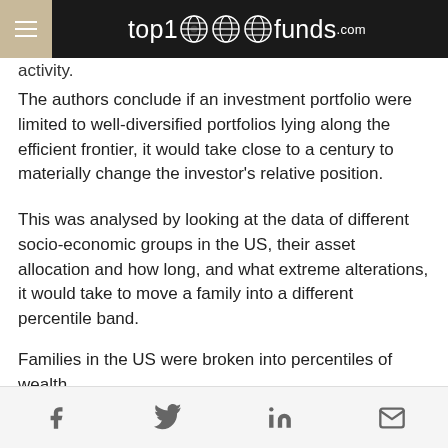top1000funds.com
activity.
The authors conclude if an investment portfolio were limited to well-diversified portfolios lying along the efficient frontier, it would take close to a century to materially change the investor's relative position.
This was analysed by looking at the data of different socio-economic groups in the US, their asset allocation and how long, and what extreme alterations, it would take to move a family into a different percentile band.
Families in the US were broken into percentiles of wealth.
“There is a long tail of being extremely wealth in the US, most people are worth nothing,” he says.
Social share icons: Facebook, Twitter, LinkedIn, Email